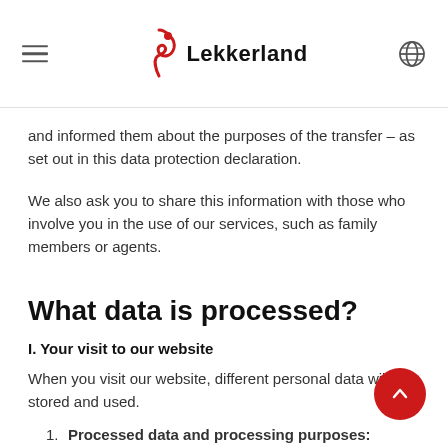Lekkerland
and informed them about the purposes of the transfer – as set out in this data protection declaration.
We also ask you to share this information with those who involve you in the use of our services, such as family members or agents.
What data is processed?
I. Your visit to our website
When you visit our website, different personal data will be stored and used.
1. Processed data and processing purposes: